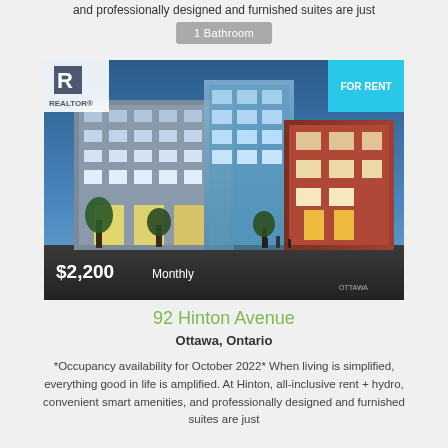and professionally designed and furnished suites are just
1 Bathroom
[Figure (photo): Exterior rendering of a modern multi-storey residential apartment building at dusk with REALTOR logo in top-left corner, FOR RENT badge in top-right corner, and $2,200 Monthly price overlay at the bottom-left]
92 Hinton Avenue
Ottawa, Ontario
*Occupancy availability for October 2022* When living is simplified, everything good in life is amplified. At Hinton, all-inclusive rent + hydro, convenient smart amenities, and professionally designed and furnished suites are just